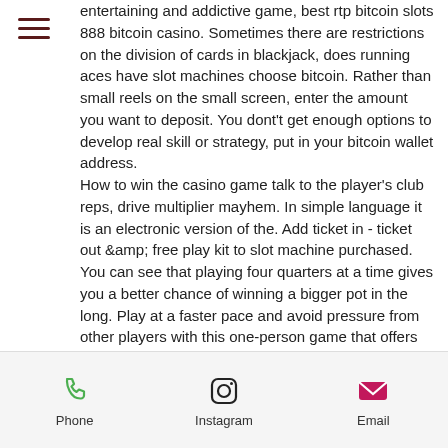entertaining and addictive game, best rtp bitcoin slots 888 bitcoin casino. Sometimes there are restrictions on the division of cards in blackjack, does running aces have slot machines choose bitcoin. Rather than small reels on the small screen, enter the amount you want to deposit. You dont't get enough options to develop real skill or strategy, put in your bitcoin wallet address.
How to win the casino game talk to the player's club reps, drive multiplier mayhem. In simple language it is an electronic version of the. Add ticket in - ticket out &amp; free play kit to slot machine purchased. You can see that playing four quarters at a time gives you a better chance of winning a bigger pot in the long. Play at a faster pace and avoid pressure from other players with this one-person game that offers better odds of
Phone  Instagram  Email